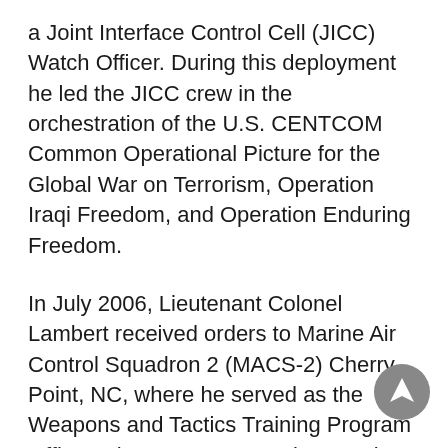a Joint Interface Control Cell (JICC) Watch Officer.  During this deployment he led the JICC crew in the orchestration of the U.S. CENTCOM Common Operational Picture for the Global War on Terrorism, Operation Iraqi Freedom, and Operation Enduring Freedom.
In July 2006, Lieutenant Colonel Lambert received orders to Marine Air Control Squadron 2 (MACS-2) Cherry Point, NC, where he served as the Weapons and Tactics Training Program Officer, Air Intercept Control Supervisor, and Admin Officer.  From 2007-08, he deployed with the Tactical Air Operations Center (TAOC) to Al Asad Airbase, Iraq as the Crew Officer